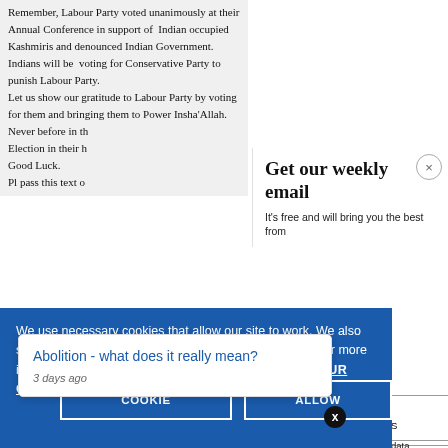Remember, Labour Party voted unanimously at their Annual Conference in support of Indian occupied Kashmiris and denounced Indian Government. Indians will be voting for Conservative Party to punish Labour Party. Let us show our gratitude to Labour Party by voting for them and bringing them to Power Insha'Allah. Never before in th... Election in their h... Good Luck. Pl pass this text o...
Get our weekly email
It's free and will bring you the best from
We use necessary cookies that allow our site to work. We also set optional cookies that help us improve our website. For more information about the types of cookies we use. READ OUR COOKIES POLICY HERE
COOKIE
ALLOW
S
data.
Abolition - what does it really mean?
3 days ago